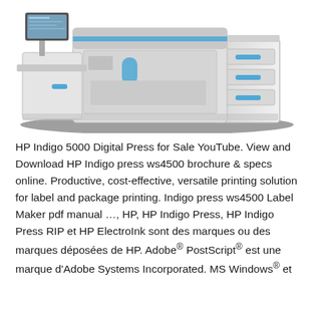[Figure (photo): HP Indigo 5000 Digital Press machine — a large industrial digital printing press with white and black body panels, blue accent handles on the right cabinet/tower unit, a monitor on the left, and a dark shadow behind it on a white background.]
HP Indigo 5000 Digital Press for Sale YouTube. View and Download HP Indigo press ws4500 brochure & specs online. Productive, cost-effective, versatile printing solution for label and package printing. Indigo press ws4500 Label Maker pdf manual …, HP, HP Indigo Press, HP Indigo Press RIP et HP ElectroInk sont des marques ou des marques déposées de HP. Adobe® PostScript® est une marque d'Adobe Systems Incorporated. MS Windows® et